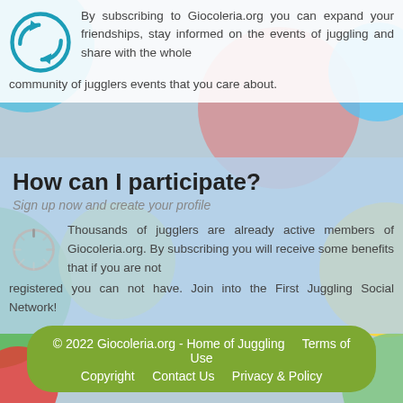[Figure (illustration): Colorful juggling balls background (green, yellow, red, teal, pink, blue)]
By subscribing to Giocoleria.org you can expand your friendships, stay informed on the events of juggling and share with the whole community of jugglers events that you care about.
How can I participate?
Sign up now and create your profile
Thousands of jugglers are already active members of Giocoleria.org. By subscribing you will receive some benefits that if you are not registered you can not have. Join into the First Juggling Social Network!
© 2022 Giocoleria.org - Home of Juggling    Terms of Use    Copyright    Contact Us    Privacy & Policy